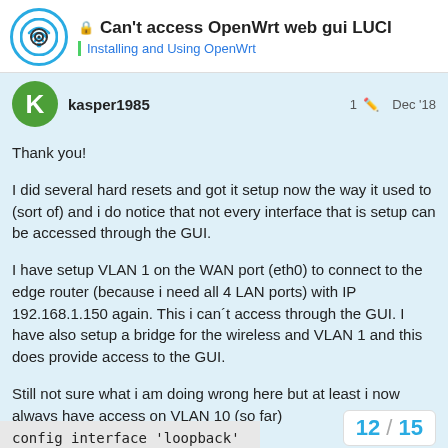Can't access OpenWrt web gui LUCI — Installing and Using OpenWrt
kasper1985 — 1 — Dec '18
Thank you!

I did several hard resets and got it setup now the way it used to (sort of) and i do notice that not every interface that is setup can be accessed through the GUI.

I have setup VLAN 1 on the WAN port (eth0) to connect to the edge router (because i need all 4 LAN ports) with IP 192.168.1.150 again. This i can´t access through the GUI. I have also setup a bridge for the wireless and VLAN 1 and this does provide access to the GUI.

Still not sure what i am doing wrong here but at least i now always have access on VLAN 10 (so far)
config interface 'loopback'
12 / 15